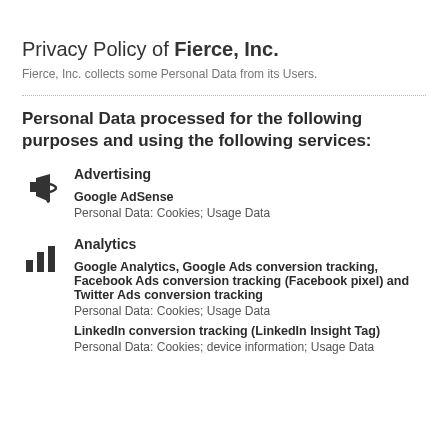Privacy Policy of Fierce, Inc.
Fierce, Inc. collects some Personal Data from its Users.
Personal Data processed for the following purposes and using the following services:
Advertising
Google AdSense
Personal Data: Cookies; Usage Data
Analytics
Google Analytics, Google Ads conversion tracking, Facebook Ads conversion tracking (Facebook pixel) and Twitter Ads conversion tracking
Personal Data: Cookies; Usage Data
LinkedIn conversion tracking (LinkedIn Insight Tag)
Personal Data: Cookies; device information; Usage Data